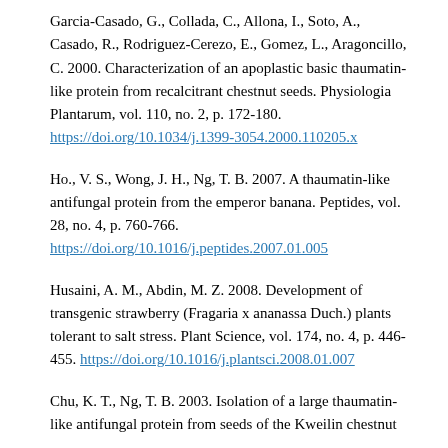Garcia-Casado, G., Collada, C., Allona, I., Soto, A., Casado, R., Rodriguez-Cerezo, E., Gomez, L., Aragoncillo, C. 2000. Characterization of an apoplastic basic thaumatin-like protein from recalcitrant chestnut seeds. Physiologia Plantarum, vol. 110, no. 2, p. 172-180. https://doi.org/10.1034/j.1399-3054.2000.110205.x
Ho., V. S., Wong, J. H., Ng, T. B. 2007. A thaumatin-like antifungal protein from the emperor banana. Peptides, vol. 28, no. 4, p. 760-766. https://doi.org/10.1016/j.peptides.2007.01.005
Husaini, A. M., Abdin, M. Z. 2008. Development of transgenic strawberry (Fragaria x ananassa Duch.) plants tolerant to salt stress. Plant Science, vol. 174, no. 4, p. 446-455. https://doi.org/10.1016/j.plantsci.2008.01.007
Chu, K. T., Ng, T. B. 2003. Isolation of a large thaumatin-like antifungal protein from seeds of the Kweilin chestnut